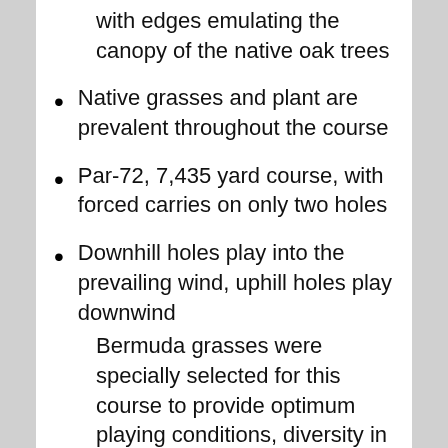with edges emulating the canopy of the native oak trees
Native grasses and plant are prevalent throughout the course
Par-72, 7,435 yard course, with forced carries on only two holes
Downhill holes play into the prevailing wind, uphill holes play downwind
Bermuda grasses were specially selected for this course to provide optimum playing conditions, diversity in color and texture and environmental sensitivity. Putting Greens are Champions Bermuda. Fairways are Tifsport Bermuda. Roughs are Bandera Bermuda. Collars, Approaches and Tee Tops are Emerald Bermuda. Outer Corridors